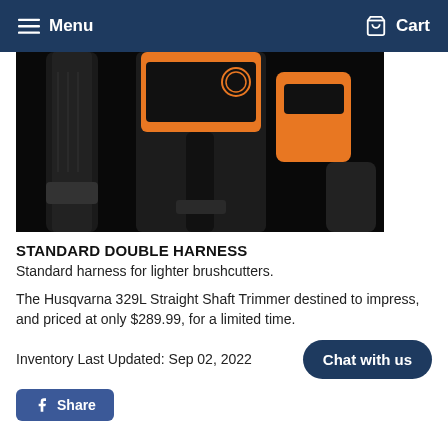Menu   Cart
[Figure (photo): Close-up photo of a black and orange double harness for brushcutters, showing straps and velcro fasteners on a black background.]
STANDARD DOUBLE HARNESS
Standard harness for lighter brushcutters.
The Husqvarna 329L Straight Shaft Trimmer destined to impress, and priced at only $289.99, for a limited time.
Inventory Last Updated: Sep 02, 2022
Chat with us
Share